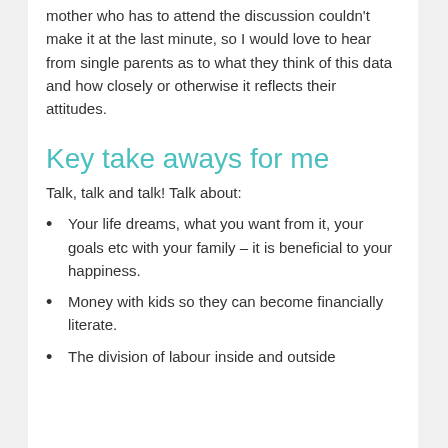mother who has to attend the discussion couldn't make it at the last minute, so I would love to hear from single parents as to what they think of this data and how closely or otherwise it reflects their attitudes.
Key take aways for me
Talk, talk and talk! Talk about:
Your life dreams, what you want from it, your goals etc with your family – it is beneficial to your happiness.
Money with kids so they can become financially literate.
The division of labour inside and outside